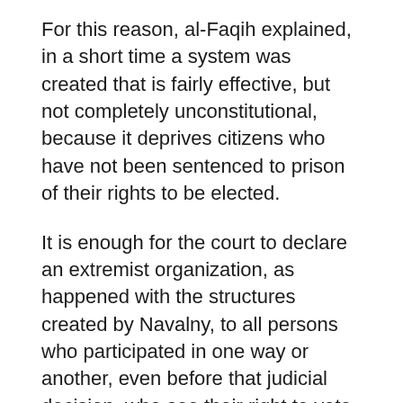For this reason, al-Faqih explained, in a short time a system was created that is fairly effective, but not completely unconstitutional, because it deprives citizens who have not been sentenced to prison of their rights to be elected.
It is enough for the court to declare an extremist organization, as happened with the structures created by Navalny, to all persons who participated in one way or another, even before that judicial decision, who see their right to vote in violation.
Among the most famous cases, the cancellation of the candidacy for the post of Deputy Speaker of the State Duma Lev Schlossberg, leader of the liberal Yabloko party, by a decision of a Moscow court, which considered that the politician was